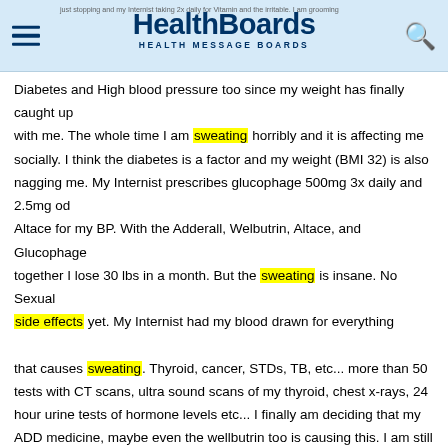HealthBoards HEALTH MESSAGE BOARDS
Diabetes and High blood pressure too since my weight has finally caught up with me. The whole time I am sweating horribly and it is affecting me socially. I think the diabetes is a factor and my weight (BMI 32) is also nagging me. My Internist prescribes glucophage 500mg 3x daily and 2.5mg od Altace for my BP. With the Adderall, Welbutrin, Altace, and Glucophage together I lose 30 lbs in a month. But the sweating is insane. No Sexual side effects yet. My Internist had my blood drawn for everything that causes sweating. Thyroid, cancer, STDs, TB, etc... more than 50 tests with CT scans, ultra sound scans of my thyroid, chest x-rays, 24 hour urine tests of hormone levels etc... I finally am deciding that my ADD medicine, maybe even the wellbutrin too is causing this. I am still losing weight so weight may only be a smaller factor.
Bty then I am still a mess, the welbutrin is not doing as good of a job as the Paxil did but my blood pressure is lowerwed and so is my weight. The daily cravings for junk food are gone and I am losing weight. Great!! but I still cannot concentrate as well as I did when I started Adderall, and my job is suffering.
Visit the Psychologist and he tries to change me to concerta. But he prescribes 60 pills so I can titrate from 18 mg to 36 in the same month. The